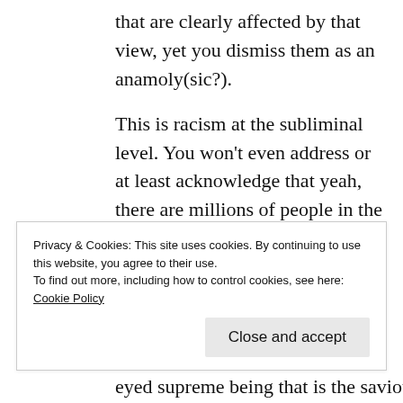that are clearly affected by that view, yet you dismiss them as an anamoly(sic?).
This is racism at the subliminal level. You won't even address or at least acknowledge that yeah, there are millions of people in the world that have hung from trees for being black. History has shown that white people, not just American white people, have had significant racial insensitivity against those that arent
Privacy & Cookies: This site uses cookies. By continuing to use this website, you agree to their use.
To find out more, including how to control cookies, see here: Cookie Policy
eyed supreme being that is the saviour of